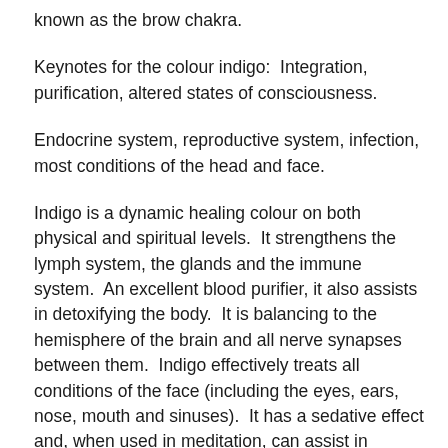known as the brow chakra.
Keynotes for the colour indigo:  Integration, purification, altered states of consciousness.
Endocrine system, reproductive system, infection, most conditions of the head and face.
Indigo is a dynamic healing colour on both physical and spiritual levels.  It strengthens the lymph system, the glands and the immune system.  An excellent blood purifier, it also assists in detoxifying the body.  It is balancing to the hemisphere of the brain and all nerve synapses between them.  Indigo effectively treats all conditions of the face (including the eyes, ears, nose, mouth and sinuses).  It has a sedative effect and, when used in meditation, can assist in achieving deeper levels of awareness.  The colour indigo has never properly been